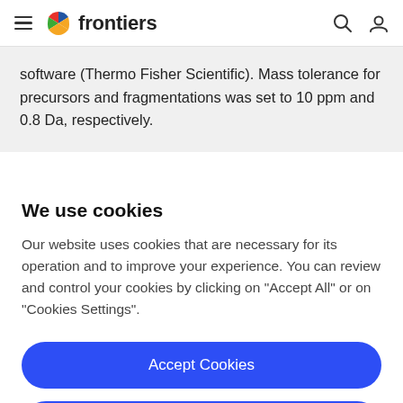frontiers
software (Thermo Fisher Scientific). Mass tolerance for precursors and fragmentations was set to 10 ppm and 0.8 Da, respectively.
We use cookies
Our website uses cookies that are necessary for its operation and to improve your experience. You can review and control your cookies by clicking on "Accept All" or on "Cookies Settings".
Accept Cookies
Cookies Settings